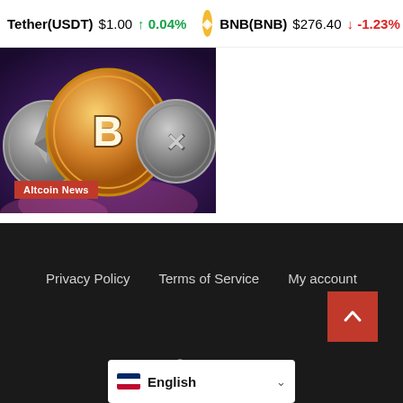Tether(USDT) $1.00 ↑0.04% | BNB(BNB) $276.40 ↓-1.23%
[Figure (photo): Cryptocurrency coins including Ethereum, Bitcoin, and Ripple on a purple background, with a red 'Altcoin News' badge overlay]
Armbrus studio picks Immutable X to initiate web3 game
Privacy Policy   Terms of Service   My account
Copyright © All rights reserved